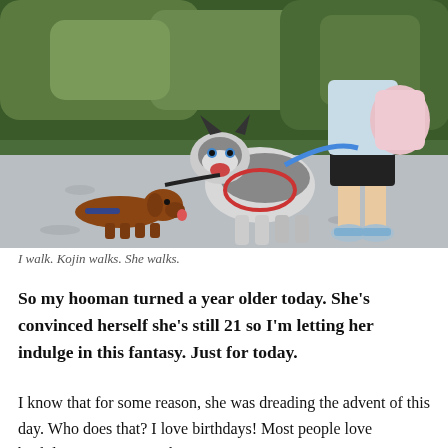[Figure (photo): A person walking two dogs on a gravel path surrounded by green foliage. One dog is a small brown dachshund and the other is a black and white Siberian Husky on a blue leash. The person is wearing a light blue shirt, black shorts, and white/blue sneakers, and carries a pink and white bag.]
I walk. Kojin walks. She walks.
So my hooman turned a year older today. She's convinced herself she's still 21 so I'm letting her indulge in this fantasy. Just for today.
I know that for some reason, she was dreading the advent of this day. Who does that? I love birthdays! Most people love birthdays! But I guess she's not most